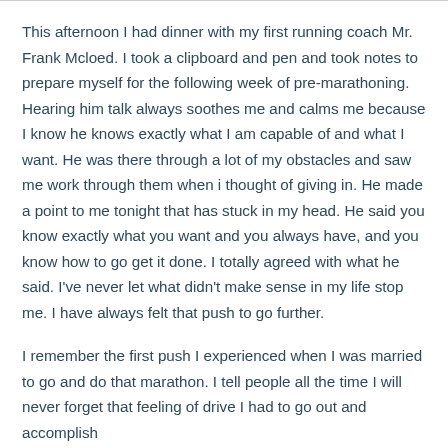This afternoon I had dinner with my first running coach Mr. Frank Mcloed. I took a clipboard and pen and took notes to prepare myself for the following week of pre-marathoning. Hearing him talk always soothes me and calms me because I know he knows exactly what I am capable of and what I want. He was there through a lot of my obstacles and saw me work through them when i thought of giving in. He made a point to me tonight that has stuck in my head. He said you know exactly what you want and you always have, and you know how to go get it done. I totally agreed with what he said. I've never let what didn't make sense in my life stop me. I have always felt that push to go further.
I remember the first push I experienced when I was married to go and do that marathon. I tell people all the time I will never forget that feeling of drive I had to go out and accomplish